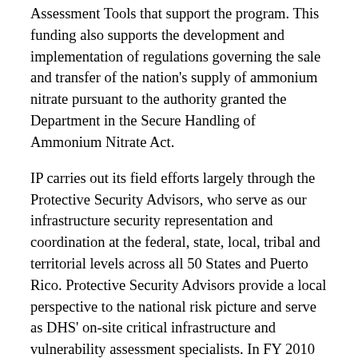Assessment Tools that support the program. This funding also supports the development and implementation of regulations governing the sale and transfer of the nation's supply of ammonium nitrate pursuant to the authority granted the Department in the Secure Handling of Ammonium Nitrate Act.
IP carries out its field efforts largely through the Protective Security Advisors, who serve as our infrastructure security representation and coordination at the federal, state, local, tribal and territorial levels across all 50 States and Puerto Rico. Protective Security Advisors provide a local perspective to the national risk picture and serve as DHS' on-site critical infrastructure and vulnerability assessment specialists. In FY 2010 the Protective Security Advisors conducted 674 Enhanced Critical Infrastructure Protection (ECIP) security surveys, which capture facility security data and track improvements made by facilities to enhance security and resilience. The FY 2012 request of $27.5 million includes $2.3